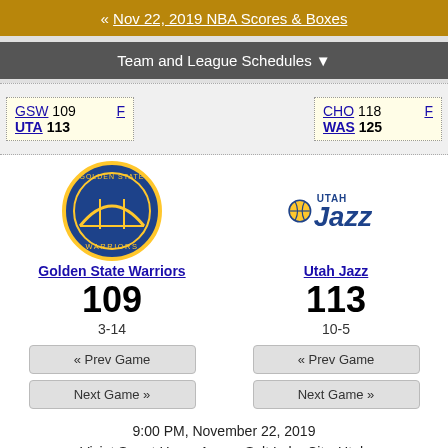« Nov 22, 2019 NBA Scores & Boxes
Team and League Schedules ▼
| GSW 109 F | UTA 113 |
| CHO 118 F | WAS 125 |
[Figure (logo): Golden State Warriors logo]
Golden State Warriors
109
3-14
[Figure (logo): Utah Jazz logo]
Utah Jazz
113
10-5
« Prev Game
Next Game »
« Prev Game
Next Game »
9:00 PM, November 22, 2019
Vivint Smart Home Arena, Salt Lake City, Utah